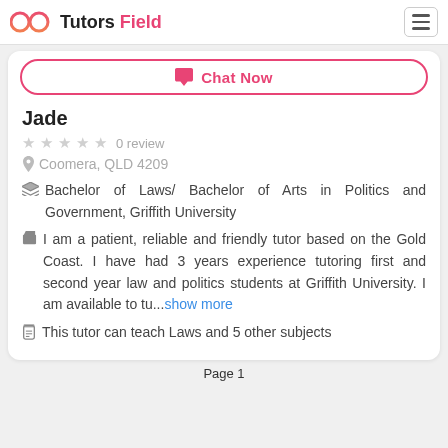Tutors Field
Chat Now
Jade
0 review
Coomera, QLD 4209
Bachelor of Laws/ Bachelor of Arts in Politics and Government, Griffith University
I am a patient, reliable and friendly tutor based on the Gold Coast. I have had 3 years experience tutoring first and second year law and politics students at Griffith University. I am available to tu...show more
This tutor can teach Laws and 5 other subjects
Page 1